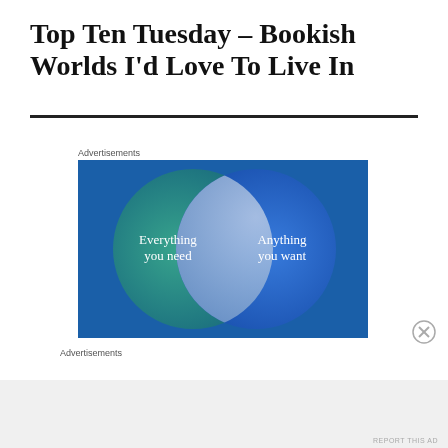Top Ten Tuesday – Bookish Worlds I'd Love To Live In
Advertisements
[Figure (infographic): Venn diagram advertisement with two overlapping circles on a blue/teal background. Left circle (teal/green) labeled 'Everything you need', right circle (blue) labeled 'Anything you want'. The overlapping intersection is lighter blue-grey.]
Advertisements